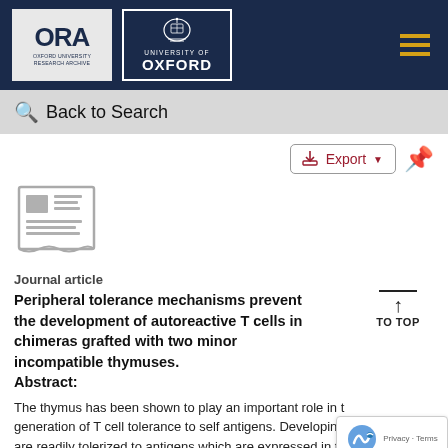[Figure (logo): Oxford University Research Archive (ORA) and University of Oxford logos on dark navy header bar with hamburger menu icon]
Back to Search
[Figure (illustration): Journal article icon - grey newspaper/document icon]
Journal article
Peripheral tolerance mechanisms prevent the development of autoreactive T cells in chimeras grafted with two minor incompatible thymuses.
Abstract:
The thymus has been shown to play an important role in the generation of T cell tolerance to self antigens. Developing are readily tolerized to antigens which are expressed in the